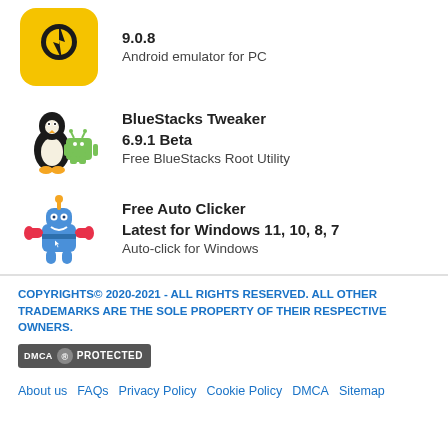[Figure (logo): LDPlayer app icon - yellow rounded square with plug/lightning bolt icon]
9.0.8
Android emulator for PC
[Figure (logo): BlueStacks Tweaker icon - Tux Linux penguin with Android robot]
BlueStacks Tweaker
6.9.1 Beta
Free BlueStacks Root Utility
[Figure (logo): Free Auto Clicker icon - blue robot character]
Free Auto Clicker
Latest for Windows 11, 10, 8, 7
Auto-click for Windows
COPYRIGHTS© 2020-2021 - ALL RIGHTS RESERVED. ALL OTHER TRADEMARKS ARE THE SOLE PROPERTY OF THEIR RESPECTIVE OWNERS.
[Figure (logo): DMCA Protected badge]
About us   FAQs   Privacy Policy   Cookie Policy   DMCA   Sitemap